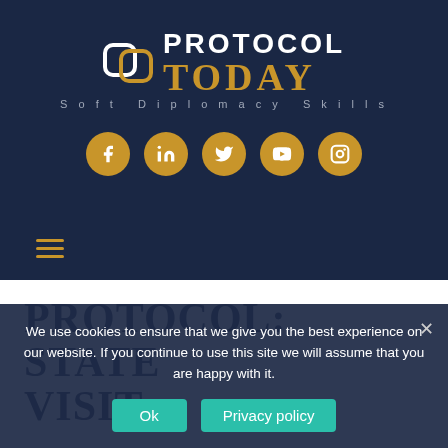[Figure (logo): Protocol Today logo with linked circles icon, 'PROTOCOL' in white bold text, 'TODAY' in gold serif text, 'Soft Diplomacy Skills' tagline below]
[Figure (infographic): Five social media icon buttons (Facebook, LinkedIn, Twitter, YouTube, Instagram) in gold/tan circular buttons on dark navy background]
[Figure (other): Hamburger menu icon with three horizontal gold lines]
PROTOCOL: STATE VISIT...
We use cookies to ensure that we give you the best experience on our website. If you continue to use this site we will assume that you are happy with it.